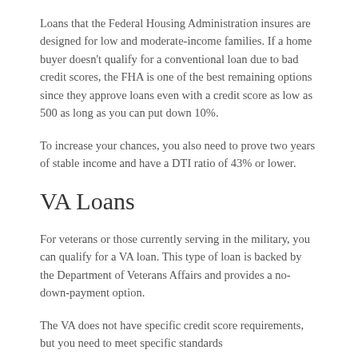Loans that the Federal Housing Administration insures are designed for low and moderate-income families. If a home buyer doesn't qualify for a conventional loan due to bad credit scores, the FHA is one of the best remaining options since they approve loans even with a credit score as low as 500 as long as you can put down 10%.
To increase your chances, you also need to prove two years of stable income and have a DTI ratio of 43% or lower.
VA Loans
For veterans or those currently serving in the military, you can qualify for a VA loan. This type of loan is backed by the Department of Veterans Affairs and provides a no-down-payment option.
The VA does not have specific credit score requirements, but you need to meet specific standards